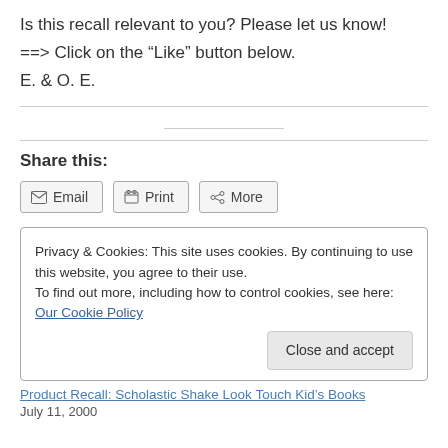Is this recall relevant to you? Please let us know!
==> Click on the “Like” button below.
E. & O. E.
Share this:
Email  Print  More
Privacy & Cookies: This site uses cookies. By continuing to use this website, you agree to their use. To find out more, including how to control cookies, see here: Our Cookie Policy
Close and accept
Product Recall: Scholastic Shake Look Touch Kid’s Books